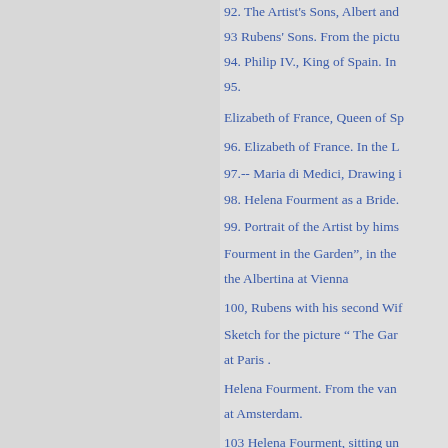92. The Artist's Sons, Albert and
93 Rubens' Sons. From the pictu
94. Philip IV., King of Spain. In
95.
Elizabeth of France, Queen of Sp
96. Elizabeth of France. In the L
97.-- Maria di Medici, Drawing i
98. Helena Fourment as a Bride.
99. Portrait of the Artist by hims
Fourment in the Garden”, in the
the Albertina at Vienna
100, Rubens with his second Wif
Sketch for the picture “ The Gar
at Paris .
Helena Fourment. From the van
at Amsterdam.
103 Helena Fourment, sitting un
kothek at Munich